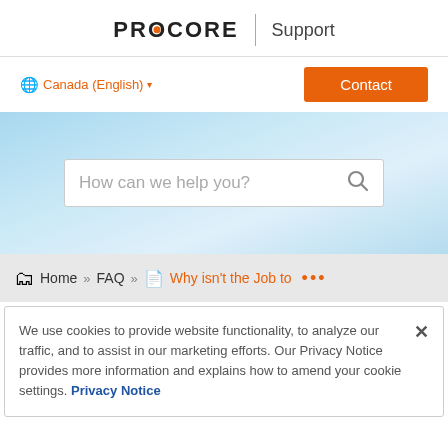PROCORE | Support
Canada (English) ▾
Contact
How can we help you?
Home » FAQ » Why isn't the Job to ...
We use cookies to provide website functionality, to analyze our traffic, and to assist in our marketing efforts. Our Privacy Notice provides more information and explains how to amend your cookie settings. Privacy Notice